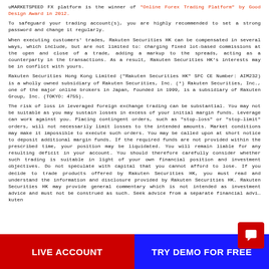uMARKETSPEED FX platform is the winner of "Online Forex Trading Platform" by Good Design Award in 2012.
To safeguard your trading account(s), you are highly recommended to set a strong password and change it regularly.
When executing customers' trades, Rakuten Securities HK can be compensated in several ways, which include, but are not limited to: charging fixed lot-based commissions at the open and close of a trade, adding a markup to the spreads, acting as a counterparty in the transactions. As a result, Rakuten Securities HK's interests may be in conflict with yours.
Rakuten Securities Hong Kong Limited ("Rakuten Securities HK" SFC CE Number: AIM232) is a wholly owned subsidiary of Rakuten Securities, Inc. (*) Rakuten Securities, Inc., one of the major online brokers in Japan, founded in 1999, is a subsidiary of Rakuten Group, Inc. (TOKYO: 4755).
The risk of loss in leveraged foreign exchange trading can be substantial. You may not be suitable as you may sustain losses in excess of your initial margin funds. Leverage can work against you. Placing contingent orders, such as "stop-loss" or "stop-limit" orders, will not necessarily limit losses to the intended amounts. Market conditions may make it impossible to execute such orders. You may be called upon at short notice to deposit additional margin funds. If the required funds are not provided within the prescribed time, your position may be liquidated. You will remain liable for any resulting deficit in your account. You should therefore carefully consider whether such trading is suitable in light of your own financial position and investment objectives. Do not speculate with capital that you cannot afford to lose. If you decide to trade products offered by Rakuten Securities HK, you must read and understand the information and disclosure provided by Rakuten Securities HK. Rakuten Securities HK may provide general commentary which is not intended as investment advice and must not be construed as such. Seek advice from a separate financial advi... Rakuten
LIVE ACCOUNT
TRY DEMO FOR FREE